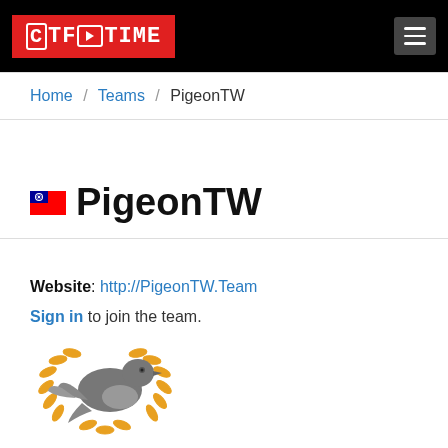CTFTime
Home / Teams / PigeonTW
🇹🇼 PigeonTW
Website: http://PigeonTW.Team
Sign in to join the team.
[Figure (logo): PigeonTW team logo: a stylized gray pigeon/dove with orange wheat/laurel wreath, and 'PigeonTW' text below in blue/yellow bold font]